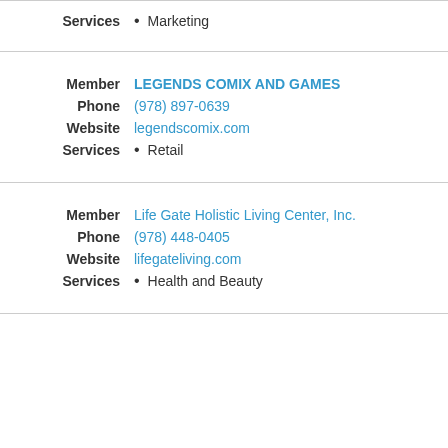Services • Marketing
Member: LEGENDS COMIX AND GAMES
Phone: (978) 897-0639
Website: legendscomix.com
Services • Retail
Member: Life Gate Holistic Living Center, Inc.
Phone: (978) 448-0405
Website: lifegateliving.com
Services • Health and Beauty